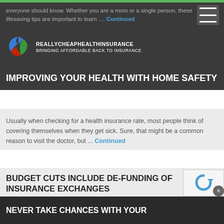everyone should know. Whether you are a mom or a single person, these lifesaving tips are important to learn .... Continued
[Figure (logo): RealyCheapHealthInsurance logo - circular swirl with blue, red, and green colors]
IMPROVING YOUR HEALTH WITH HOME SAFETY
Usually when checking for a health insurance rate, most people think of covering themselves when they get sick. Sure, that might be a common reason to visit the doctor, but ... Continued
BUDGET CUTS INCLUDE DE-FUNDING OF INSURANCE EXCHANGES
The budget compromise which was finally reached on Friday evening will impact two parts of the 2009 health care reform law, parts which are hotly contested b...
NEVER TAKE CHANCES WITH YOUR